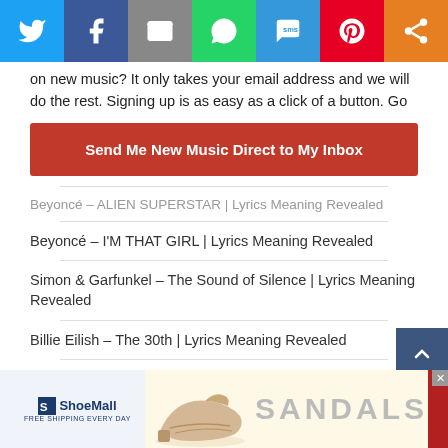[Figure (other): Social sharing bar with Twitter, Facebook, Email, WhatsApp, SMS, Pinterest, and More icons]
on new music? It only takes your email address and we will do the rest. Signing up is as easy as a click of a button. Go
Send Me New Music Direct to My Inbox
Beyoncé – ALIEN SUPERSTAR | Lyrics Meaning Revealed
Beyoncé – I'M THAT GIRL | Lyrics Meaning Revealed
Simon & Garfunkel – The Sound of Silence | Lyrics Meaning Revealed
Billie Eilish – The 30th | Lyrics Meaning Revealed
The Beatles – While My Guitar Gently Weeps | Lyrics Meaning Revealed
[Figure (other): ShoeMall advertisement banner showing sandals with SHOP NOW call to action]